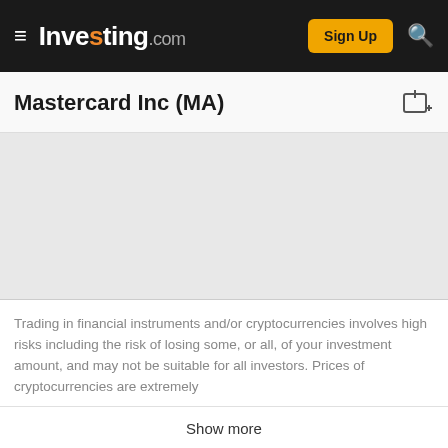Investing.com — Sign Up
Mastercard Inc (MA)
[Figure (other): Chart placeholder area — grey background, no chart loaded]
Trading in financial instruments and/or cryptocurrencies involves high risks including the risk of losing some, or all, of your investment amount, and may not be suitable for all investors. Prices of cryptocurrencies are extremely
Show more
ADVERTISEMENT
[Figure (other): Advertisement banner: Try AI-Guided Investing Only $7/mo. Magnifi. Advisory services are offered through Magnifi LLC, an SEC registered investment advisor.]